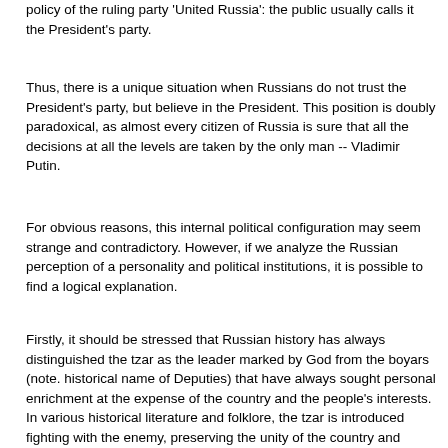policy of the ruling party 'United Russia': the public usually calls it the President's party.
Thus, there is a unique situation when Russians do not trust the President's party, but believe in the President. This position is doubly paradoxical, as almost every citizen of Russia is sure that all the decisions at all the levels are taken by the only man -- Vladimir Putin.
For obvious reasons, this internal political configuration may seem strange and contradictory. However, if we analyze the Russian perception of a personality and political institutions, it is possible to find a logical explanation.
Firstly, it should be stressed that Russian history has always distinguished the tzar as the leader marked by God from the boyars (note. historical name of Deputies) that have always sought personal enrichment at the expense of the country and the people's interests. In various historical literature and folklore, the tzar is introduced fighting with the enemy, preserving the unity of the country and expanding its territory. In other words, the President has to be a strong personality, able to rule with an iron fist.  The Russian